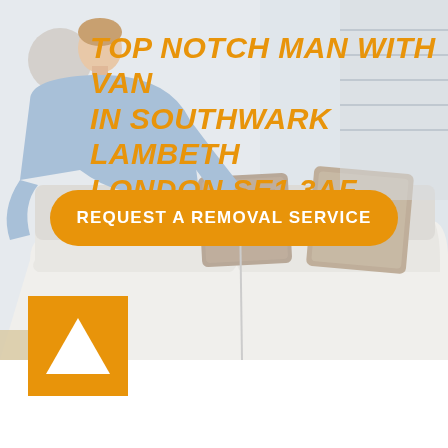[Figure (photo): Man in blue shirt leaning over a white sofa with beige cushions in a bright room]
TOP NOTCH MAN WITH VAN IN SOUTHWARK LAMBETH LONDON SE1 3AF
REQUEST A REMOVAL SERVICE
[Figure (logo): Orange square with white upward-pointing triangle logo]